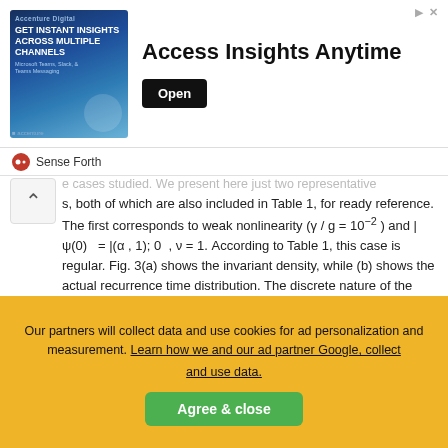[Figure (other): Advertisement banner: 'Access Insights Anytime' with Open button and an ad image on the left]
Sense Forth
e cases studied. We present here just two representative s, both of which are also included in Table 1, for ready reference. The first corresponds to weak nonlinearity (γ / g = 10−2 ) and |ψ(0) = |(α , 1); 0 , ν = 1. According to Table 1, this case is regular. Fig. 3(a) shows the invariant density, while (b) shows the actual recurrence time distribution. The discrete nature of the latter is a clear indication that the dynamics is actually quasiperiodic [21,22]. In marked contrast, consider a case of strong nonlinearity, γ / g = 5 and |ψ(0) = |(α , 1); 0 , ν = 10. According to Table 1, this case has λmax = 0.80. Fig. 4(a) shows that the invariant density is in fact well-approximated by a Gaussian in this case. More im-
The quantum case considered by us allows for more than one classical limit. Only some of these correspond to classically
Our partners will collect data and use cookies for ad personalization and measurement. Learn how we and our ad partner Google, collect and use data.
Agree & close